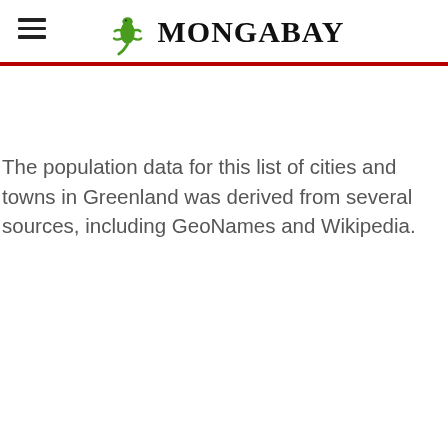MONGABAY
The population data for this list of cities and towns in Greenland was derived from several sources, including GeoNames and Wikipedia.